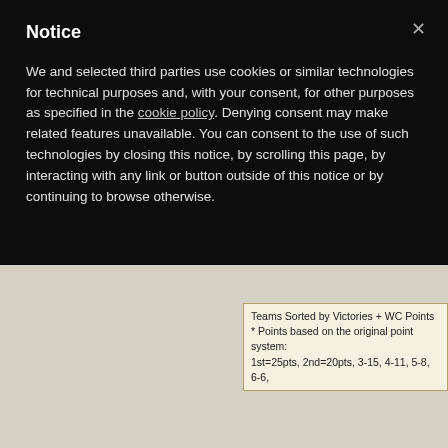Notice
We and selected third parties use cookies or similar technologies for technical purposes and, with your consent, for other purposes as specified in the cookie policy. Denying consent may make related features unavailable. You can consent to the use of such technologies by closing this notice, by scrolling this page, by interacting with any link or button outside of this notice or by continuing to browse otherwise.
Teams Sorted by Victories + WC Points
* Points based on the original point system:
1st=25pts, 2nd=20pts, 3-15, 4-11, 5-8, 6-6,